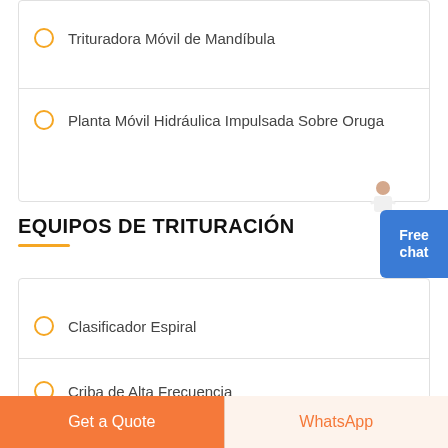Trituradora Móvil de Mandíbula
Planta Móvil Hidráulica Impulsada Sobre Oruga
EQUIPOS DE TRITURACIÓN
Clasificador Espiral
Criba de Alta Frecuencia
Get a Quote
WhatsApp